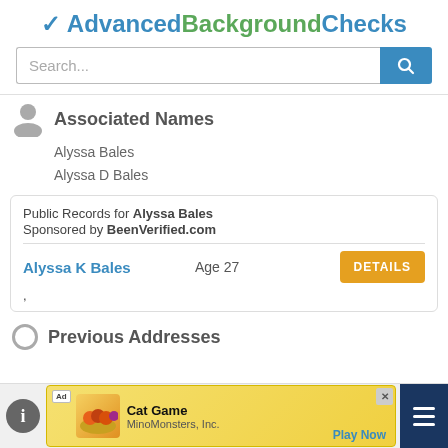✔ AdvancedBackgroundChecks
[Figure (screenshot): Search bar with placeholder text 'Search...' and a blue search button with magnifying glass icon]
Associated Names
Alyssa Bales
Alyssa D Bales
Public Records for Alyssa Bales
Sponsored by BeenVerified.com
Alyssa K Bales   Age 27   DETAILS
,
Previous Addresses
[Figure (screenshot): Bottom ad banner: Cat Game by MinoMonsters, Inc. with Play Now link, info icon, and hamburger menu]